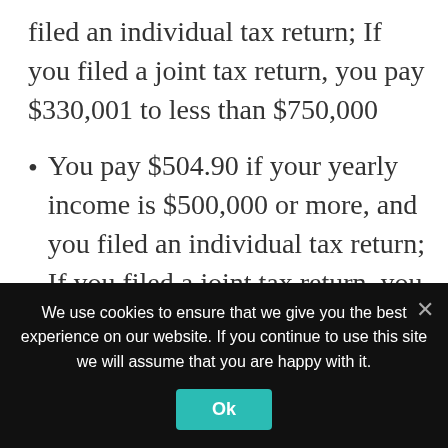filed an individual tax return; If you filed a joint tax return, you pay $330,001 to less than $750,000
You pay $504.90 if your yearly income is $500,000 or more, and you filed an individual tax return; If you filed a joint tax return, you pay $750,000 or more
You pay $148.50 if you are married but you file a separate tax return from your spouse and your yearly income is $88,000 or less
We use cookies to ensure that we give you the best experience on our website. If you continue to use this site we will assume that you are happy with it.